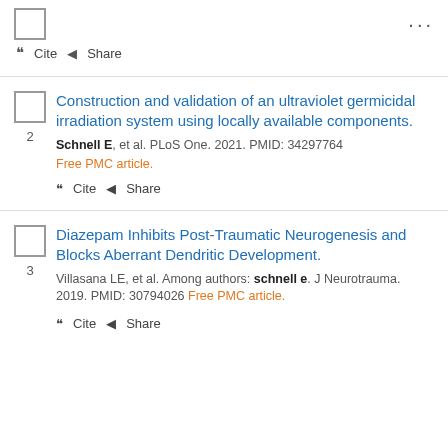☐ ...
❝ Cite ◀ Share
Construction and validation of an ultraviolet germicidal irradiation system using locally available components.
Schnell E, et al. PLoS One. 2021. PMID: 34297764
Free PMC article.
❝ Cite ◀ Share
Diazepam Inhibits Post-Traumatic Neurogenesis and Blocks Aberrant Dendritic Development.
Villasana LE, et al. Among authors: schnell e. J Neurotrauma. 2019. PMID: 30794026 Free PMC article.
❝ Cite ◀ Share